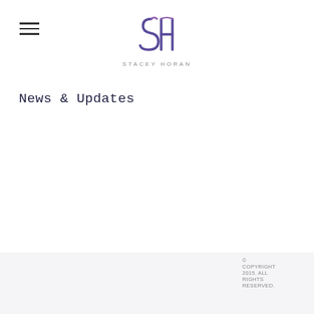STACEY HORAN
News & Updates
© COPYRIGHT 2015. ALL RIGHTS RESERVED.